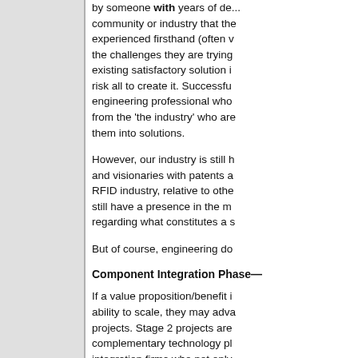by someone with years of deep community or industry that they experienced firsthand (often w... the challenges they are trying... existing satisfactory solution i... risk all to create it. Successful engineering professional who from the 'the industry' who are them into solutions.
However, our industry is still h and visionaries with patents a RFID industry, relative to othe still have a presence in the m... regarding what constitutes a s...
But of course, engineering do...
Component Integration Phase—
If a value proposition/benefit i ability to scale, they may adva projects. Stage 2 projects are complementary technology pl... integration firms who not only evaluating the long-term oppo...